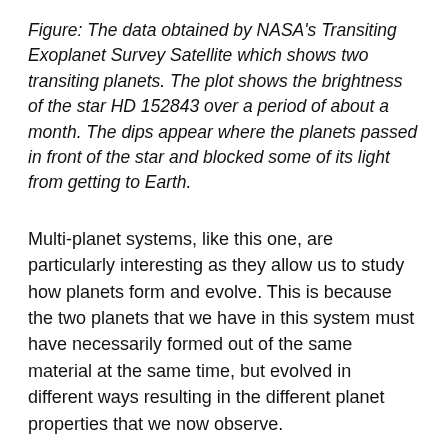Figure: The data obtained by NASA's Transiting Exoplanet Survey Satellite which shows two transiting planets. The plot shows the brightness of the star HD 152843 over a period of about a month. The dips appear where the planets passed in front of the star and blocked some of its light from getting to Earth.
Multi-planet systems, like this one, are particularly interesting as they allow us to study how planets form and evolve. This is because the two planets that we have in this system must have necessarily formed out of the same material at the same time, but evolved in different ways resulting in the different planet properties that we now observe.
Even though there are already hundreds of confirmed multi-planet systems, the number of multi-planet systems with stars that are bright enough such that we